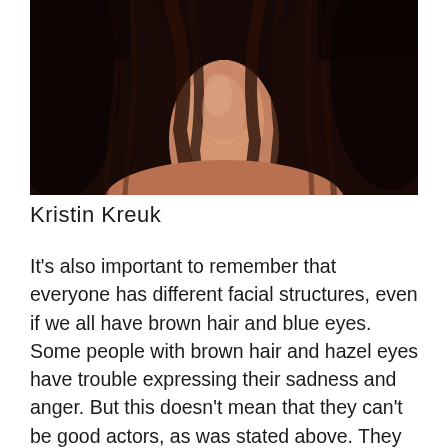[Figure (photo): Close-up photo of a woman with long dark brown hair, showing her neck and lower face area. The background is dark. The subject appears to be Kristin Kreuk.]
Kristin Kreuk
It’s also important to remember that everyone has different facial structures, even if we all have brown hair and blue eyes. Some people with brown hair and hazel eyes have trouble expressing their sadness and anger. But this doesn’t mean that they can’t be good actors, as was stated above. They may not be able to show the other emotions that are required to bring drama to a scene